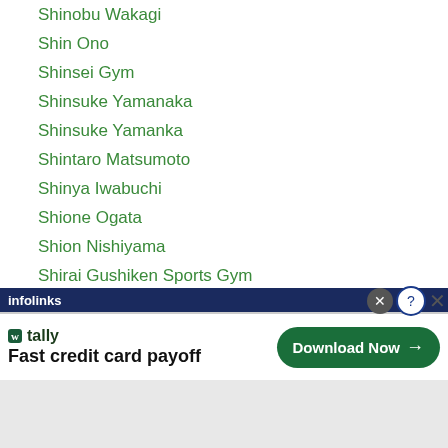Shinobu Wakagi
Shin Ono
Shinsei Gym
Shinsuke Yamanaka
Shinsuke Yamanka
Shintaro Matsumoto
Shinya Iwabuchi
Shione Ogata
Shion Nishiyama
Shirai Gushiken Sports Gym
Shiro-kameda
Shisui Kawabata
Shogo Yamaguchi
Shohei Kawashima
Shohei Omori
Shohiahon Ergashev
[Figure (screenshot): infolinks advertisement banner for Tally app with text 'Fast credit card payoff' and 'Download Now' button]